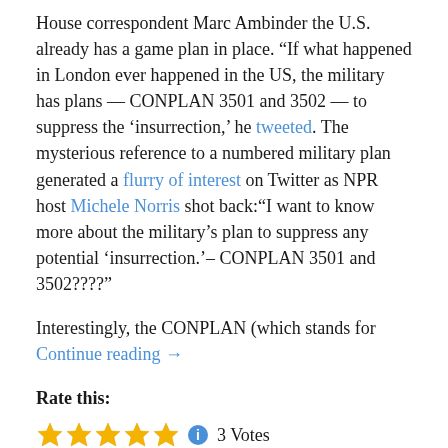House correspondent Marc Ambinder the U.S. already has a game plan in place. “If what happened in London ever happened in the US, the military has plans — CONPLAN 3501 and 3502 — to suppress the ‘insurrection,’ he tweeted. The mysterious reference to a numbered military plan generated a flurry of interest on Twitter as NPR host Michele Norris shot back:“I want to know more about the military’s plan to suppress any potential ‘insurrection.’– CONPLAN 3501 and 3502????”
Interestingly, the CONPLAN (which stands for Continue reading →
Rate this:
[Figure (other): Five gold star rating icons followed by a blue info circle icon, then '3 Votes' text]